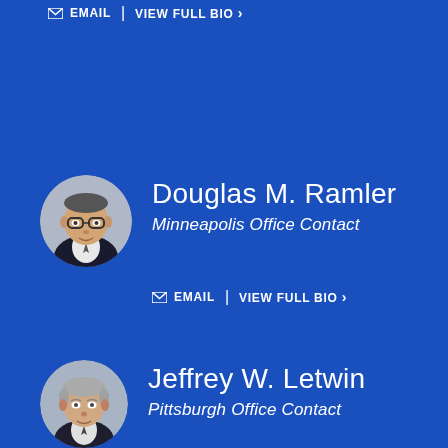EMAIL | VIEW FULL BIO >
[Figure (photo): Headshot of Douglas M. Ramler, a middle-aged man with glasses wearing a dark suit, circular crop]
Douglas M. Ramler
Minneapolis Office Contact
EMAIL | VIEW FULL BIO >
[Figure (photo): Headshot of Jeffrey W. Letwin, an older man with gray hair wearing a dark suit, circular crop]
Jeffrey W. Letwin
Pittsburgh Office Contact